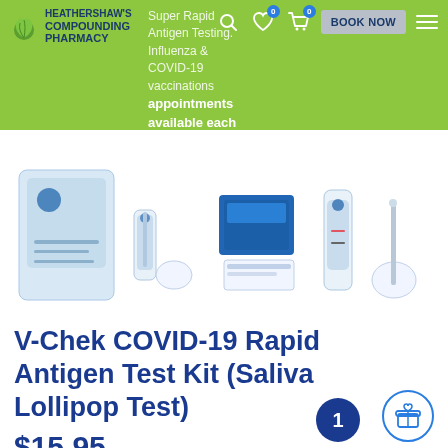Heathershaw's Compounding Pharmacy — Super Rapid Antigen Testing. Influenza & COVID-19 vaccinations appointments available each week.
[Figure (photo): V-Chek COVID-19 Rapid Antigen Test Kit product photos showing packaging bag, test device with swab, instruction card, and assembled test device with saliva lollipop swab]
V-Chek COVID-19 Rapid Antigen Test Kit (Saliva Lollipop Test)
$15.95